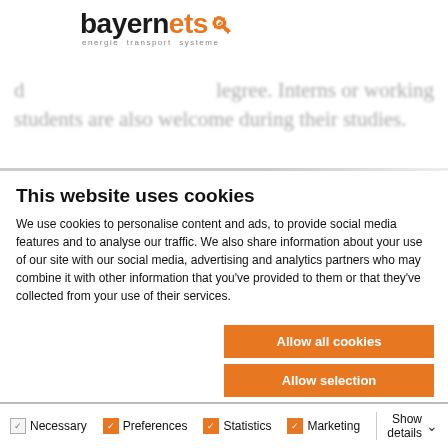[Figure (logo): Bayernets logo with orange magnifier icon and tagline 'energie transport systeme']
degree. Interns or working students are also welcome during their studies.
This website uses cookies
We use cookies to personalise content and ads, to provide social media features and to analyse our traffic. We also share information about your use of our site with our social media, advertising and analytics partners who may combine it with other information that you've provided to them or that they've collected from your use of their services.
Allow all cookies
Allow selection
Use necessary cookies only
Necessary  Preferences  Statistics  Marketing  Show details